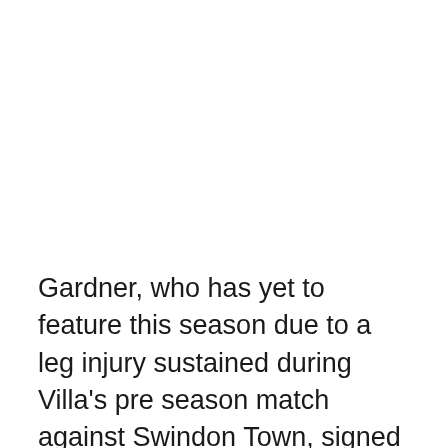Gardner, who has yet to feature this season due to a leg injury sustained during Villa's pre season match against Swindon Town, signed a three-year deal in August. His Villa career has been interrupted by injuries and a number of loan spells, but upon signing his new deal, Gardner was ready to battle for a spot in Sherwood's side. "I enjoyed my time on loan," Gardner said back in August. "But now I'm determined to make